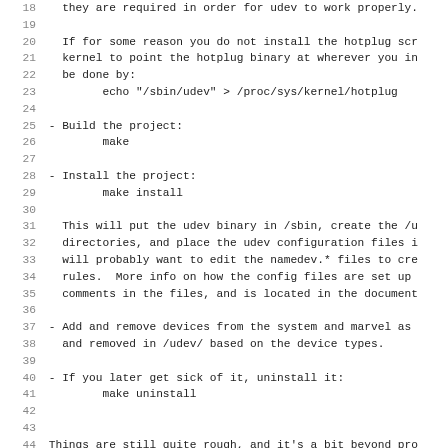18  they are required in order for udev to work properly.
19
20  If for some reason you do not install the hotplug scr
21  kernel to point the hotplug binary at wherever you in
22  be done by:
23        echo "/sbin/udev" > /proc/sys/kernel/hotplug
24
25 - Build the project:
26        make
27
28 - Install the project:
29        make install
30
31  This will put the udev binary in /sbin, create the /u
32  directories, and place the udev configuration files i
33  will probably want to edit the namedev.* files to cre
34  rules.  More info on how the config files are set up
35  comments in the files, and is located in the document
36
37 - Add and remove devices from the system and marvel as
38  and removed in /udev/ based on the device types.
39
40 - If you later get sick of it, uninstall it:
41        make uninstall
42
43
44 Things are still quite rough, and it's a bit beyond pro
45 code.  Help is very much appreciated, see the TODO file
46 things left to be done.
47
48 Any comment/questions/concerns please let me know.
49
50 greg k-h